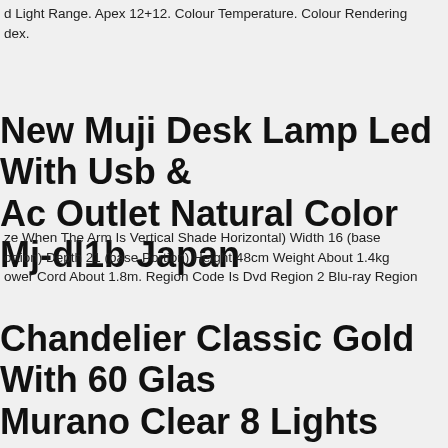d Light Range. Apex 12+12. Colour Temperature. Colour Rendering Index.
New Muji Desk Lamp Led With Usb & Ac Outlet Natural Color Mj-dl1b Japan
ze When The Arm Is Vertical Shade Horizontal) Width 16 (base ortion) Depth 21 (base Portion) Height 48cm Weight About 1.4kg ower Cord About 1.8m. Region Code Is Dvd Region 2 Blu-ray Region
Chandelier Classic Gold With 60 Glass Murano Clear 8 Lights Bga 3019-60v
ructure Entirely In Gold-colored Metal With 60 Elegant Transparent urano Glasses, All Worked By Hand. It Mounts 8 Bulbs E14 Small tack Max 40w Not Included, Possibility To Mount Led Bulbs. Possible eturns Of The Goods And Related Refund Are Regulated By Italian